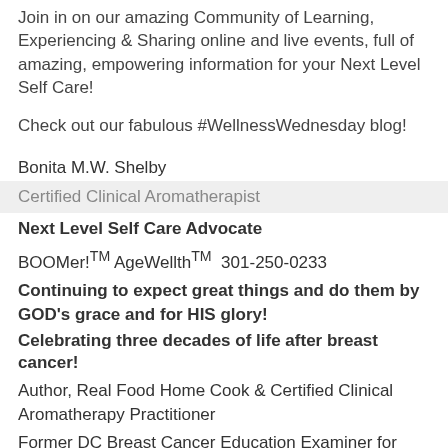Join in on our amazing Community of Learning, Experiencing & Sharing online and live events, full of amazing, empowering information for your Next Level Self Care!
Check out our fabulous #WellnessWednesday blog!
Bonita M.W. Shelby
Certified Clinical Aromatherapist
Next Level Self Care Advocate
BOOMer!TM AgeWellthTM  301-250-0233
Continuing to expect great things and do them by GOD's grace and for HIS glory!
Celebrating three decades of life after breast cancer!
Author, Real Food Home Cook & Certified Clinical Aromatherapy Practitioner
Former DC Breast Cancer Education Examiner for former online examiner.com
Young Living Essential Oils Independent Distributor